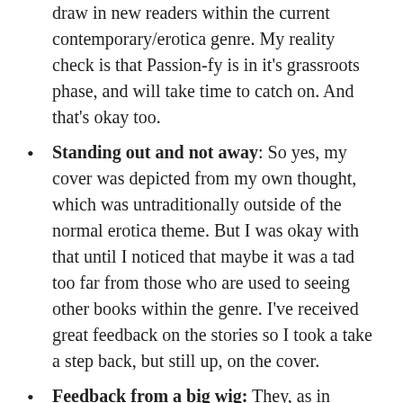draw in new readers within the current contemporary/erotica genre. My reality check is that Passion-fy is in it's grassroots phase, and will take time to catch on. And that's okay too.
Standing out and not away: So yes, my cover was depicted from my own thought, which was untraditionally outside of the normal erotica theme. But I was okay with that until I noticed that maybe it was a tad too far from those who are used to seeing other books within the genre. I've received great feedback on the stories so I took a take a step back, but still up, on the cover.
Feedback from a big wig: They, as in Barnes & Noble, didn't say they didn't like my cover, but they did bring up “helping” with cover designs *wink wink*.